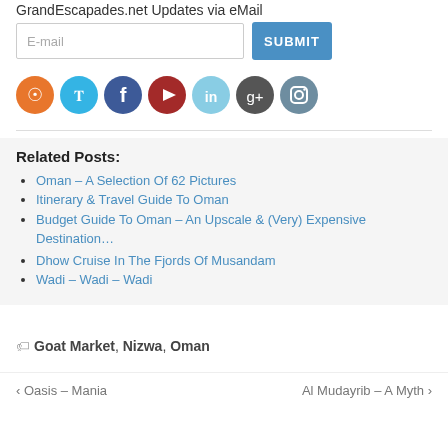GrandEscapades.net Updates via eMail
[Figure (infographic): Email input field with placeholder 'E-mail' and a blue SUBMIT button]
[Figure (infographic): Row of 7 social media icon circles: RSS (orange), Twitter (light blue), Facebook (dark blue), YouTube (dark red), LinkedIn (light blue), Google+ (dark gray), Instagram (gray-blue)]
Related Posts:
Oman – A Selection Of 62 Pictures
Itinerary & Travel Guide To Oman
Budget Guide To Oman – An Upscale & (Very) Expensive Destination…
Dhow Cruise In The Fjords Of Musandam
Wadi – Wadi – Wadi
Goat Market, Nizwa, Oman
‹ Oasis – Mania   Al Mudayrib – A Myth ›